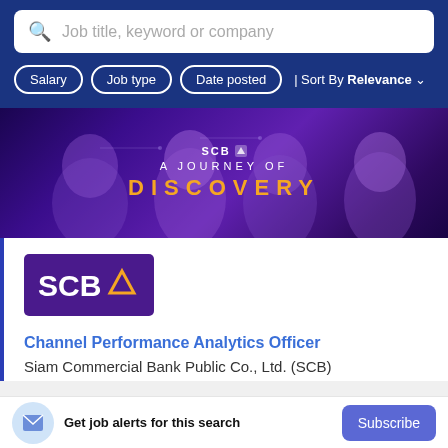Job title, keyword or company
Salary
Job type
Date posted
Sort By Relevance
[Figure (illustration): SCB bank promotional banner: 'A Journey of Discovery' with purple background and silhouetted human figures]
[Figure (logo): SCB (Siam Commercial Bank) purple logo with triangle house icon]
Channel Performance Analytics Officer
Siam Commercial Bank Public Co., Ltd. (SCB)
Get job alerts for this search
Subscribe